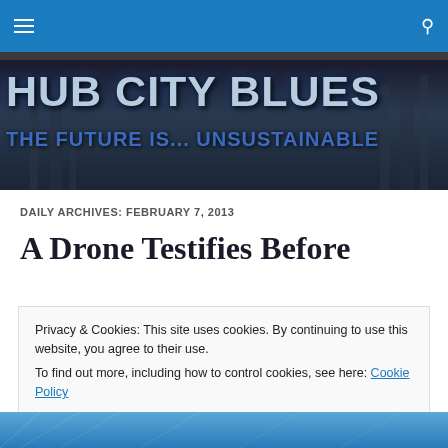Hub City Blues – Navigation bar with menu and search icons
[Figure (illustration): Hub City Blues website banner with large bold text 'HUB CITY BLUES' and subtitle 'THE FUTURE IS... UNSUSTAINABLE' on a dark city background]
DAILY ARCHIVES: FEBRUARY 7, 2013
A Drone Testifies Before
Privacy & Cookies: This site uses cookies. By continuing to use this website, you agree to their use.
To find out more, including how to control cookies, see here: Cookie Policy

Close and accept
[Figure (photo): Partial bottom image strip showing blue tones, appears to be a photo preview]